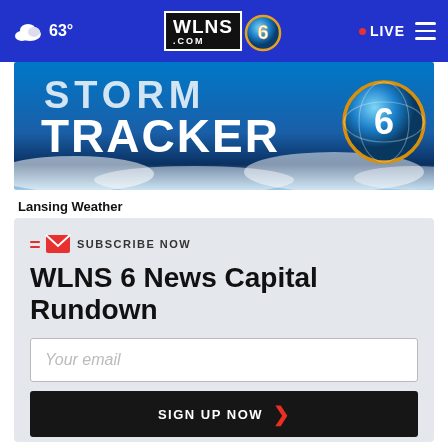63° WLNS.COM 6 LIVE
[Figure (screenshot): WLNS Storm Tracker 6 banner image with blue sky and clouds background, showing text TRACKER with globe logo]
Lansing Weather
SUBSCRIBE NOW
WLNS 6 News Capital Rundown
Your email
SIGN UP NOW